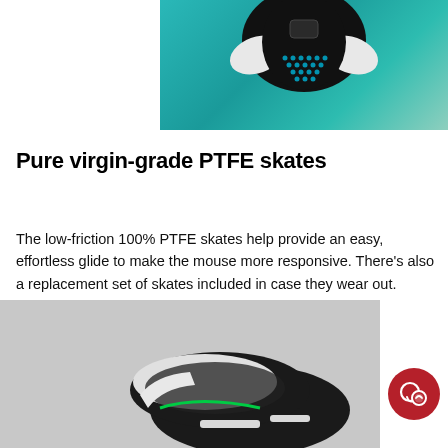[Figure (photo): Top-down view of a gaming mouse with teal/turquoise background, showing black mouse with white and blue dot accents]
Pure virgin-grade PTFE skates
The low-friction 100% PTFE skates help provide an easy, effortless glide to make the mouse more responsive. There’s also a replacement set of skates included in case they wear out.
[Figure (photo): Angled product photo of a gaming mouse on grey background, showing black textured body with white and green accent, mouse feet visible]